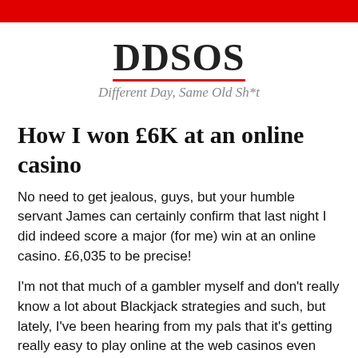DDSOS
Different Day, Same Old Sh*t
How I won £6K at an online casino
No need to get jealous, guys, but your humble servant James can certainly confirm that last night I did indeed score a major (for me) win at an online casino. £6,035 to be precise!
I'm not that much of a gambler myself and don't really know a lot about Blackjack strategies and such, but lately, I've been hearing from my pals that it's getting really easy to play online at the web casinos even from your phone without being an expert in anything